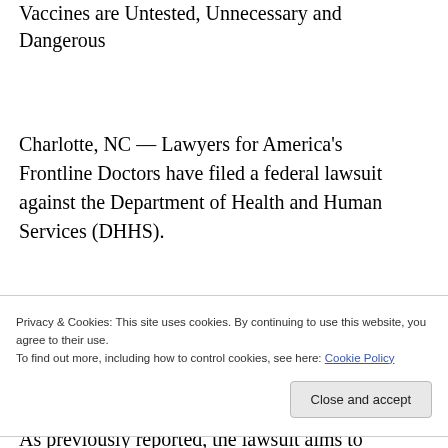Vaccines are Untested, Unnecessary and Dangerous
Charlotte, NC — Lawyers for America's Frontline Doctors have filed a federal lawsuit against the Department of Health and Human Services (DHHS).
The suit is seeking a preliminary injunction to halt the use of the experimental COVID-19 vaccines from Moderna, Pfizer and Johnson & Johnson for those under 18, those with immunity
Privacy & Cookies: This site uses cookies. By continuing to use this website, you agree to their use.
To find out more, including how to control cookies, see here: Cookie Policy
As previously reported, the lawsuit aims to